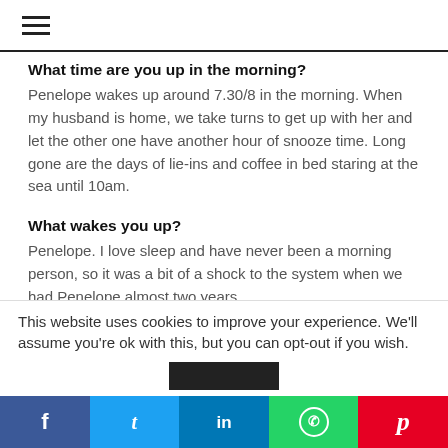≡
What time are you up in the morning?
Penelope wakes up around 7.30/8 in the morning. When my husband is home, we take turns to get up with her and let the other one have another hour of snooze time. Long gone are the days of lie-ins and coffee in bed staring at the sea until 10am.
What wakes you up?
Penelope. I love sleep and have never been a morning person, so it was a bit of a shock to the system when we had Penelope almost two years
This website uses cookies to improve your experience. We'll assume you're ok with this, but you can opt-out if you wish.
f  t  in  WhatsApp  p